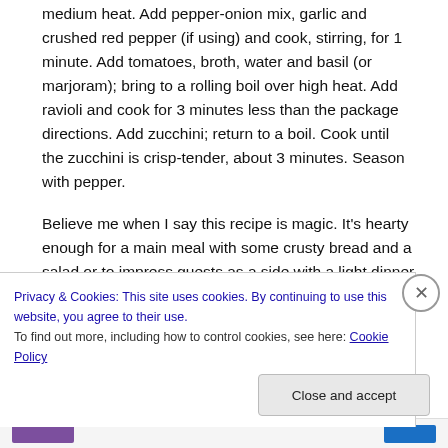medium heat. Add pepper-onion mix, garlic and crushed red pepper (if using) and cook, stirring, for 1 minute. Add tomatoes, broth, water and basil (or marjoram); bring to a rolling boil over high heat. Add ravioli and cook for 3 minutes less than the package directions. Add zucchini; return to a boil. Cook until the zucchini is crisp-tender, about 3 minutes. Season with pepper.
Believe me when I say this recipe is magic. It's hearty enough for a main meal with some crusty bread and a salad or to impress guests as a side with a light dinner
Privacy & Cookies: This site uses cookies. By continuing to use this website, you agree to their use.
To find out more, including how to control cookies, see here: Cookie Policy
Close and accept